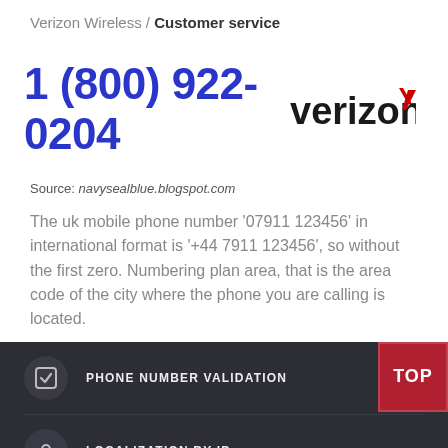Verizon Wireless / Customer service
1 (800) 922-0204
[Figure (logo): Verizon logo with red checkmark]
Source: navysealblue.blogspot.com
The uk mobile phone number '07911 123456' in international format is '+44 7911 123456', so without the first zero. Numbering plan area, that is the area code of the city where the phone you are calling is located.
PHONE NUMBER VALIDATION
LOCALIZATION BY IP